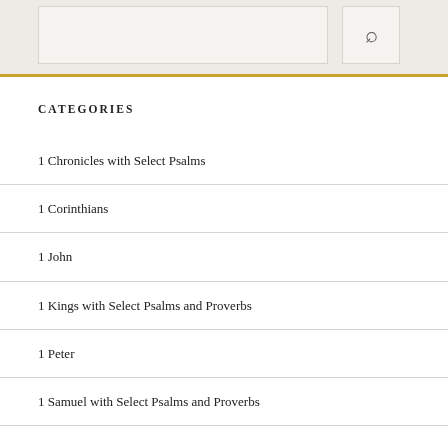CATEGORIES
1 Chronicles with Select Psalms
1 Corinthians
1 John
1 Kings with Select Psalms and Proverbs
1 Peter
1 Samuel with Select Psalms and Proverbs